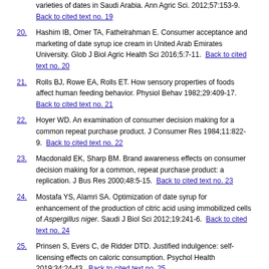varieties of dates in Saudi Arabia. Ann Agric Sci. 2012;57:153-9. Back to cited text no. 19
20. Hashim IB, Omer TA, Fathelrahman E. Consumer acceptance and marketing of date syrup ice cream in United Arab Emirates University. Glob J Biol Agric Health Sci 2016;5:7-11. Back to cited text no. 20
21. Rolls BJ, Rowe EA, Rolls ET. How sensory properties of foods affect human feeding behavior. Physiol Behav 1982;29:409-17. Back to cited text no. 21
22. Hoyer WD. An examination of consumer decision making for a common repeat purchase product. J Consumer Res 1984;11:822-9. Back to cited text no. 22
23. Macdonald EK, Sharp BM. Brand awareness effects on consumer decision making for a common, repeat purchase product: a replication. J Bus Res 2000;48:5-15. Back to cited text no. 23
24. Mostafa YS, Alamri SA. Optimization of date syrup for enhancement of the production of citric acid using immobilized cells of Aspergillus niger. Saudi J Biol Sci 2012;19:241-6. Back to cited text no. 24
25. Prinsen S, Evers C, de Ridder DTD. Justified indulgence: self-licensing effects on caloric consumption. Psychol Health 2019;34:24-43. Back to cited text no. 25